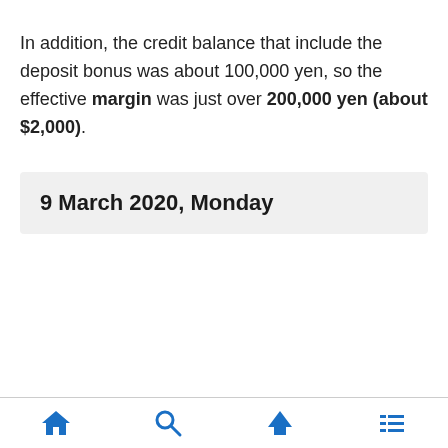In addition, the credit balance that include the deposit bonus was about 100,000 yen, so the effective margin was just over 200,000 yen (about $2,000).
9 March 2020, Monday
Navigation icons: home, search, up, menu